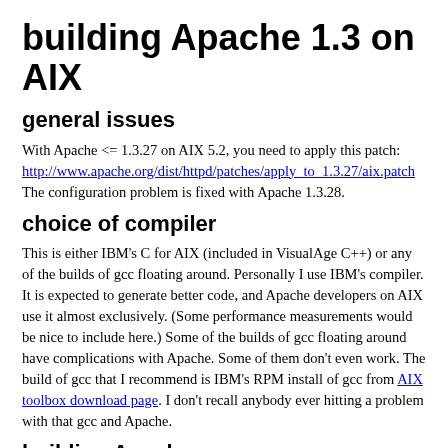building Apache 1.3 on AIX
general issues
With Apache <= 1.3.27 on AIX 5.2, you need to apply this patch: http://www.apache.org/dist/httpd/patches/apply_to_1.3.27/aix.patch The configuration problem is fixed with Apache 1.3.28.
choice of compiler
This is either IBM's C for AIX (included in VisualAge C++) or any of the builds of gcc floating around. Personally I use IBM's compiler. It is expected to generate better code, and Apache developers on AIX use it almost exclusively. (Some performance measurements would be nice to include here.) Some of the builds of gcc floating around have complications with Apache. Some of them don't even work. The build of gcc that I recommend is IBM's RPM install of gcc from AIX toolbox download page. I don't recall anybody ever hitting a problem with that gcc and Apache.
building Apache